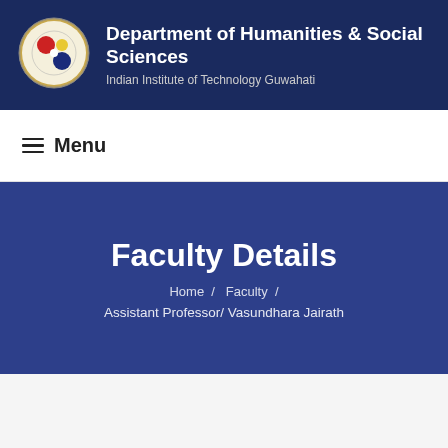Department of Humanities & Social Sciences — Indian Institute of Technology Guwahati
≡ Menu
Faculty Details
Home / Faculty / Assistant Professor/ Vasundhara Jairath